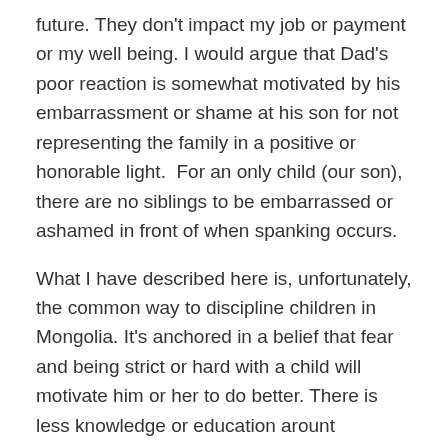future. They don't impact my job or payment or my well being. I would argue that Dad's poor reaction is somewhat motivated by his embarrassment or shame at his son for not representing the family in a positive or honorable light.  For an only child (our son), there are no siblings to be embarrassed or ashamed in front of when spanking occurs.
What I have described here is, unfortunately, the common way to discipline children in Mongolia. It's anchored in a belief that fear and being strict or hard with a child will motivate him or her to do better. There is less knowledge or education arount teaching, mentoring, coaching, or modeling that which we want our child to do. Parents yell, beat,